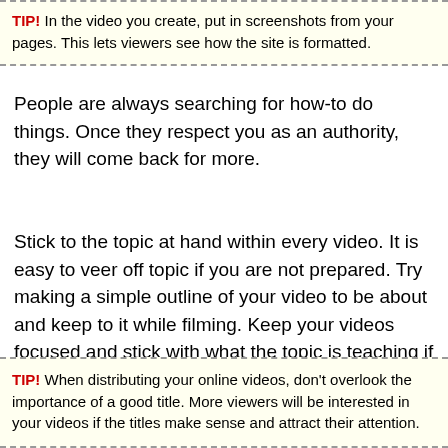TIP! In the video you create, put in screenshots from your pages. This lets viewers see how the site is formatted.
People are always searching for how-to do things. Once they respect you as an authority, they will come back for more.
Stick to the topic at hand within every video. It is easy to veer off topic if you are not prepared. Try making a simple outline of your video to be about and keep to it while filming. Keep your videos focused and stick with what the topic is teaching if you will have success at video marketing.
TIP! When distributing your online videos, don't overlook the importance of a good title. More viewers will be interested in your videos if the titles make sense and attract their attention.